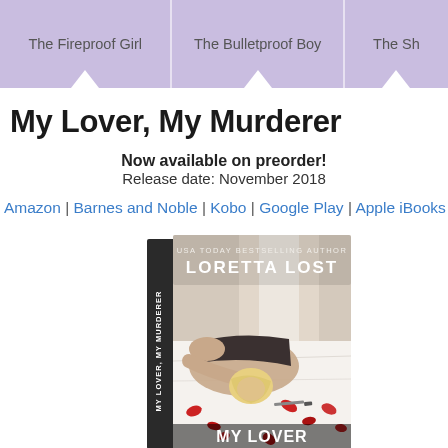The Fireproof Girl | The Bulletproof Boy | The Sh...
My Lover, My Murderer
Now available on preorder!
Release date: November 2018
Amazon | Barnes and Noble | Kobo | Google Play | Apple iBooks | S...
[Figure (photo): Book cover for 'My Lover, My Murderer' by Loretta Lost (USA Today Bestselling Author). The cover shows a woman with short blonde hair lying on a white bed covered with red rose petals and a knife. The title 'MY LOVER' is visible at the bottom. The book is shown in a 3D standing perspective.]